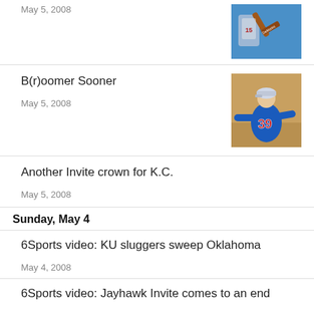May 5, 2008
[Figure (photo): Baseball player holding a bat, blue sky background]
B(r)oomer Sooner
May 5, 2008
[Figure (photo): Baseball player number 39 in blue jersey, throwing or pitching]
Another Invite crown for K.C.
May 5, 2008
Sunday, May 4
6Sports video: KU sluggers sweep Oklahoma
May 4, 2008
6Sports video: Jayhawk Invite comes to an end